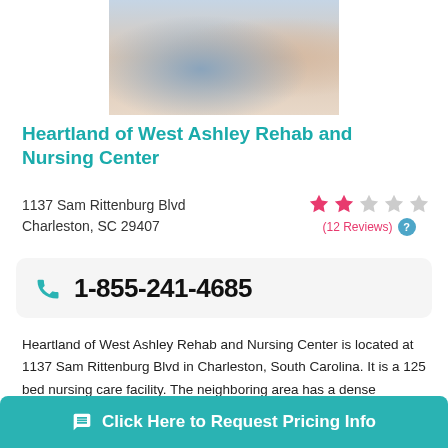[Figure (photo): Two elderly people sitting together, one in a blue shirt, one in a pink top, appearing to be in conversation or sharing a moment]
Heartland of West Ashley Rehab and Nursing Center
1137 Sam Rittenburg Blvd
Charleston, SC 29407
(12 Reviews)
1-855-241-4685
Heartland of West Ashley Rehab and Nursing Center is located at 1137 Sam Rittenburg Blvd in Charleston, South Carolina. It is a 125 bed nursing care facility. The neighboring area has a dense population, with approximately 36,000 people
Click Here to Request Pricing Info